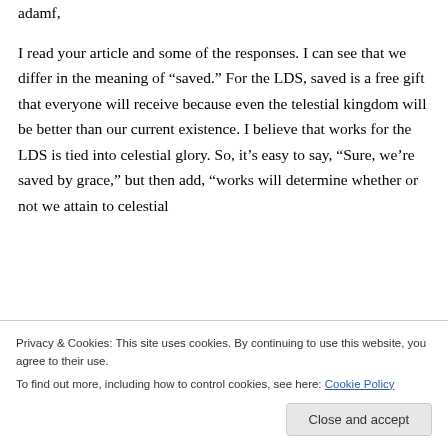adamf,

I read your article and some of the responses. I can see that we differ in the meaning of “saved.” For the LDS, saved is a free gift that everyone will receive because even the telestial kingdom will be better than our current existence. I believe that works for the LDS is tied into celestial glory. So, it’s easy to say, “Sure, we’re saved by grace,” but then add, “works will determine whether or not we attain to celestial
Privacy & Cookies: This site uses cookies. By continuing to use this website, you agree to their use.
To find out more, including how to control cookies, see here: Cookie Policy